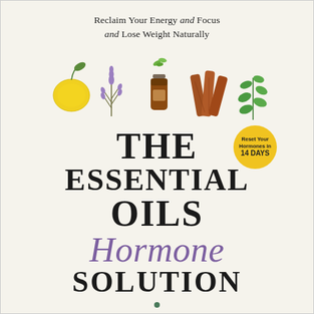Reclaim Your Energy and Focus and Lose Weight Naturally
[Figure (illustration): Five herb and essential oil illustrations in a row: lemon with leaf, lavender sprig, brown essential oil bottle with green leaves above, cinnamon sticks, and mint leaves]
[Figure (other): Yellow circular badge reading: Reset Your Hormones in 14 DAYS]
THE ESSENTIAL OILS Hormone SOLUTION